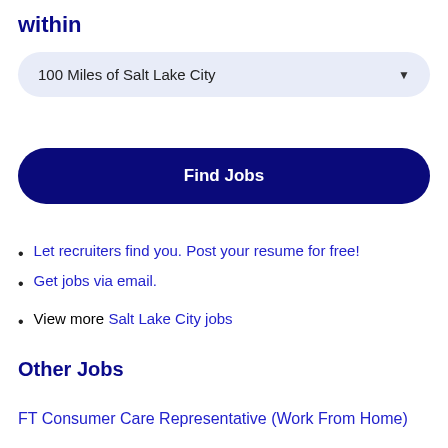within
100 Miles of Salt Lake City
Find Jobs
Let recruiters find you. Post your resume for free!
Get jobs via email.
View more Salt Lake City jobs
Other Jobs
FT Consumer Care Representative (Work From Home)